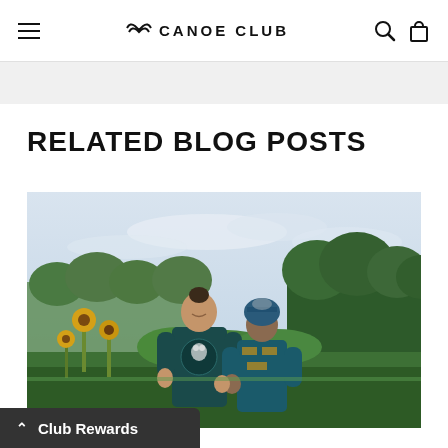CANOE CLUB
RELATED BLOG POSTS
[Figure (photo): Two people standing in a garden with sunflowers and trees. The man has long hair tied up and wears a dark teal hoodie with a globe/bear graphic. The woman wears a patterned knit beanie and a teal and yellow sweater. They are holding hands in an outdoor garden setting at dusk.]
Club Rewards